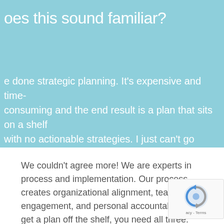oes this sound familiar?
e done strategic planning. It’s expensive and time-consuming and the end result is a plan that sits on a shelf with no actionable strategies. I just can’t go through that again.
We couldn’t agree more! We are experts in process and implementation. Our process creates organizational alignment, team engagement, and personal accountability. To get a plan off the shelf, you need all three.
[Figure (logo): reCAPTCHA logo with text 'acy - Terms']